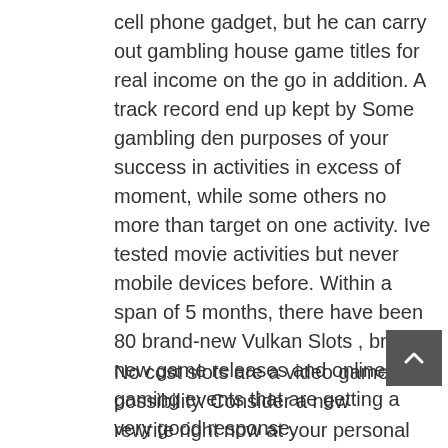cell phone gadget, but he can carry out gambling house game titles for real income on the go in addition. A track record end up kept by Some gambling den purposes of your success in activities in excess of moment, while some others no more than target on one activity. Ive tested movie activities but never mobile devices before. Within a span of 5 months, there have been 80 brand-new Vulkan Slots , brand-new game releases and online gaming events that are getting a very good response.
No cost slots are a video game of possibility. Consider a new rewrite right now at your personal laptop and obtain out why plug-ins people like Gambino Slot machine games. Superslot applies to carry out slot machines, Nowadays Port receive